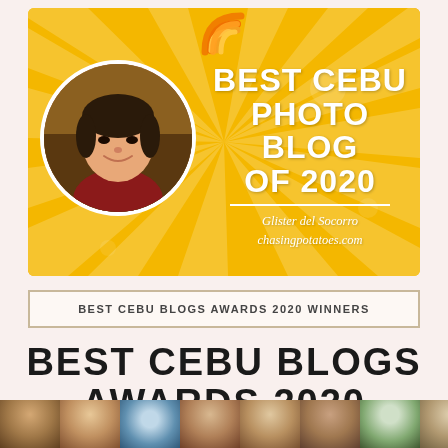[Figure (illustration): Award banner with golden/yellow gradient background, RSS-style icon at top, circular photo of a woman on the left, and text 'BEST CEBU PHOTO BLOG OF 2020' with 'Glister del Socorro chasingpotatoes.com' on the right]
BEST CEBU BLOGS AWARDS 2020 WINNERS
BEST CEBU BLOGS AWARDS 2020 WINNERS
[Figure (photo): Strip of small circular/cropped photos of blog award winners along the bottom edge]